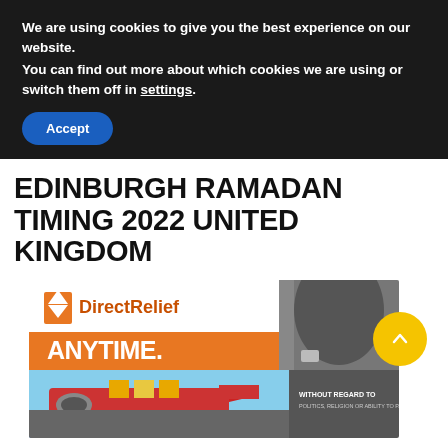We are using cookies to give you the best experience on our website.
You can find out more about which cookies we are using or switch them off in settings.
Accept
EDINBURGH RAMADAN TIMING 2022 UNITED KINGDOM
[Figure (photo): Direct Relief advertisement banner showing 'ANYTIME.' text on orange background with aircraft loading cargo and text 'WITHOUT REGARD TO POLITICS, RELIGION OR ABILITY TO PAY']
↑